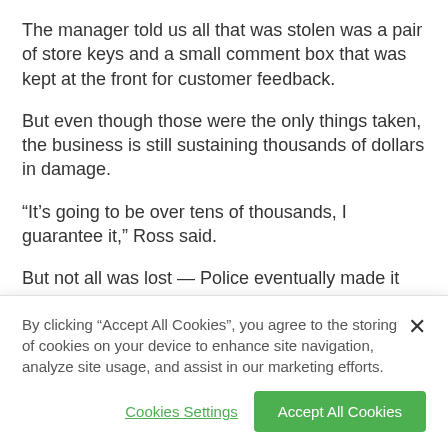The manager told us all that was stolen was a pair of store keys and a small comment box that was kept at the front for customer feedback.
But even though those were the only things taken, the business is still sustaining thousands of dollars in damage.
“It’s going to be over tens of thousands, I guarantee it,” Ross said.
But not all was lost — Police eventually made it back with the laundromat’s comment box.
By clicking “Accept All Cookies”, you agree to the storing of cookies on your device to enhance site navigation, analyze site usage, and assist in our marketing efforts.
Cookies Settings
Accept All Cookies